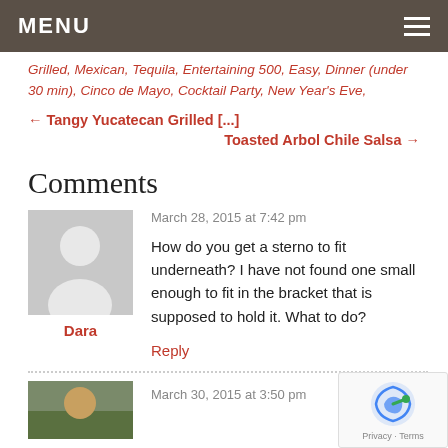MENU
Grilled, Mexican, Tequila, Entertaining 500, Easy, Dinner (under 30 min), Cinco de Mayo, Cocktail Party, New Year's Eve,
← Tangy Yucatecan Grilled [...]
Toasted Arbol Chile Salsa →
Comments
March 28, 2015 at 7:42 pm
How do you get a sterno to fit underneath? I have not found one small enough to fit in the bracket that is supposed to hold it. What to do?
Dara
Reply
March 30, 2015 at 3:50 pm